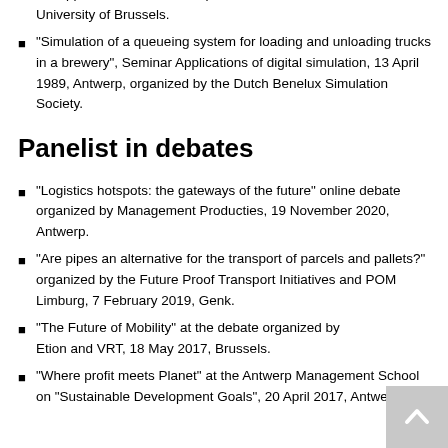process". Troisième cycle interuniversitaire F.N.R.S. 1990-1991: Operational Research and decision support systems; Seminar on the application of stochastic processes, 23 November 1990, University of Brussels.
"Simulation of a queueing system for loading and unloading trucks in a brewery", Seminar Applications of digital simulation, 13 April 1989, Antwerp, organized by the Dutch Benelux Simulation Society.
Panelist in debates
"Logistics hotspots: the gateways of the future" online debate organized by Management Producties, 19 November 2020, Antwerp.
"Are pipes an alternative for the transport of parcels and pallets?" organized by the Future Proof Transport Initiatives and POM Limburg, 7 February 2019, Genk.
"The Future of Mobility" at the debate organized by Etion and VRT, 18 May 2017, Brussels.
"Where profit meets Planet" at the Antwerp Management School on "Sustainable Development Goals", 20 April 2017, Antwerp.